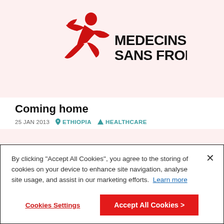[Figure (logo): Médecins Sans Frontières logo — red running figure with MSF caduceus symbol and text MEDECINS SANS FRONTIERES on pink/light-red background]
Coming home
25 JAN 2013   ETHIOPIA   HEALTHCARE
[Figure (photo): Partial second image/photo on pink background, partially visible]
By clicking "Accept All Cookies", you agree to the storing of cookies on your device to enhance site navigation, analyse site usage, and assist in our marketing efforts. Learn more